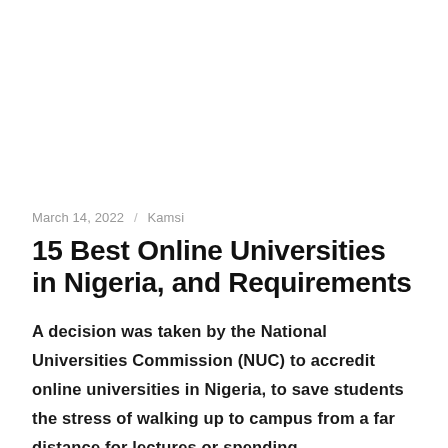March 14, 2022 / Kamsi
15 Best Online Universities in Nigeria, and Requirements
A decision was taken by the National Universities Commission (NUC) to accredit online universities in Nigeria, to save students the stress of walking up to campus from a far distance for lectures or spending transportation fares on a daily basis.